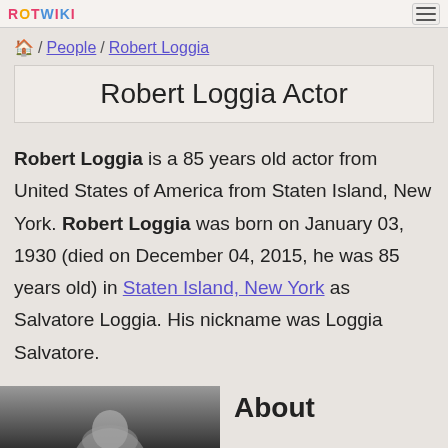ROTWIKI [menu button]
🏠 / People / Robert Loggia
Robert Loggia Actor
Robert Loggia is a 85 years old actor from United States of America from Staten Island, New York. Robert Loggia was born on January 03, 1930 (died on December 04, 2015, he was 85 years old) in Staten Island, New York as Salvatore Loggia. His nickname was Loggia Salvatore.
[Figure (photo): Black and white photo of Robert Loggia]
About